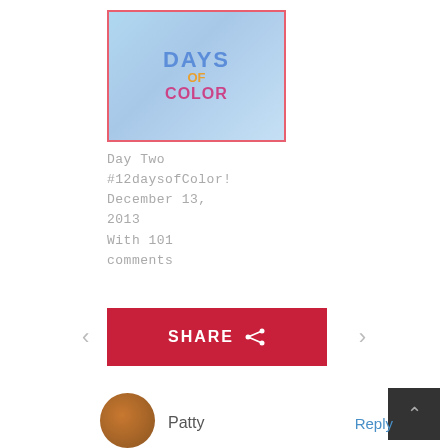[Figure (illustration): Thumbnail image for '12 Days of Color' blog post showing colorful text on a light blue background with a decorative border]
Day Two #12daysofColor! December 13, 2013 With 101 comments
[Figure (infographic): Red SHARE button with share icon]
<
>
[Figure (illustration): Back to top button - dark square with upward chevron arrow]
[Figure (photo): Commenter avatar - round brown circular profile picture]
Patty
Reply